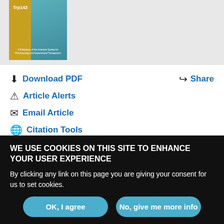[Figure (photo): Journal cover image showing Trp143 label with teal/blue figure and yellow background, branded as a publication of the American Society for Pharmacology and Experimental Therapeutics]
Download PDF
Share
Article Alerts
Email Article
Citation Tools
Related Articles
Cited By...
WE USE COOKIES ON THIS SITE TO ENHANCE YOUR USER EXPERIENCE
By clicking any link on this page you are giving your consent for us to set cookies.
OK, I agree
No, give me more info